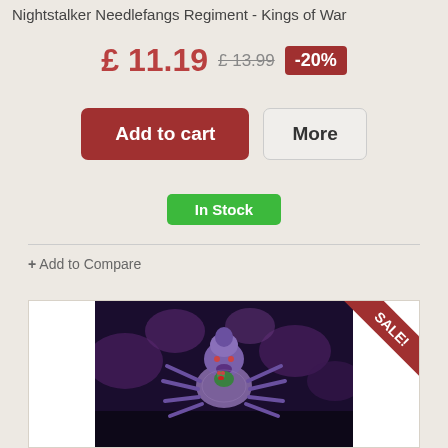Nightstalker Needlefangs Regiment - Kings of War
£ 11.19 £ 13.99 -20%
Add to cart
More
In Stock
+ Add to Compare
[Figure (photo): Product photo of a Nightstalker Needlefangs miniature figure, a spider-like purple creature holding a small creature, with purple foliage in the background. A red SALE! ribbon is in the top right corner.]